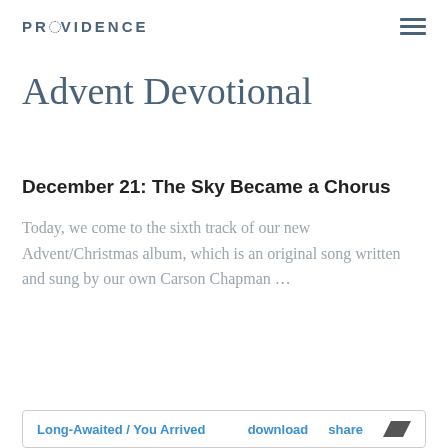PROVIDENCE
Advent Devotional
December 21: The Sky Became a Chorus
Today, we come to the sixth track of our new Advent/Christmas album, which is an original song written and sung by our own Carson Chapman …
Long-Awaited / You Arrived   download   share   /bc